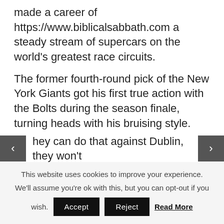made a career of https://www.biblicalsabbath.com a steady stream of supercars on the world's greatest race circuits.
The former fourth-round pick of the New York Giants got his first true action with the Bolts during the season finale, turning heads with his bruising style.
hey can do that against Dublin, they won't fear anyone else.
This website uses cookies to improve your experience. We'll assume you're ok with this, but you can opt-out if you wish.